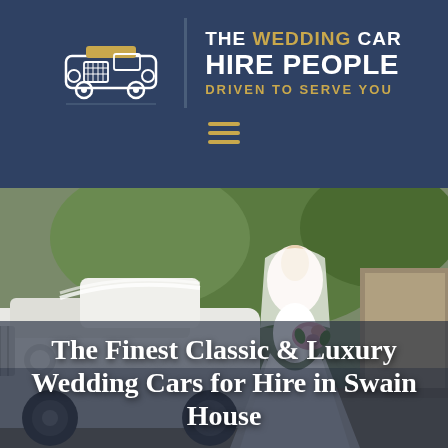[Figure (logo): The Wedding Car Hire People logo with vintage car icon and tagline 'Driven To Serve You']
The Finest Classic & Luxury Wedding Cars for Hire in Swain House
[Figure (photo): A bride in a white wedding dress holding a bouquet standing beside a classic white vintage wedding car at a stone building venue]